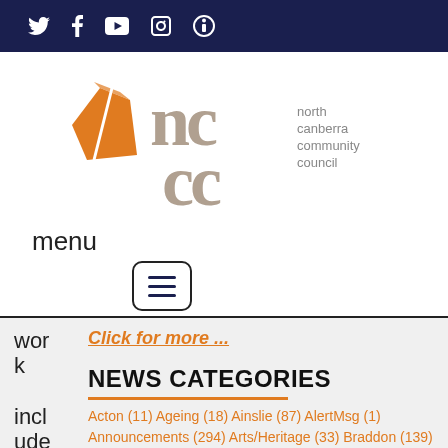Social media icons: Twitter, Facebook, YouTube, RSS
[Figure (logo): North Canberra Community Council logo with orange geometric shape and NCCC lettering in grey]
menu
[Figure (other): Hamburger menu icon button (three horizontal lines in a rounded rectangle border)]
work includes replaces
Click for more ...
NEWS CATEGORIES
Acton (11) Ageing (18) Ainslie (87) AlertMsg (1) Announcements (294) Arts/Heritage (33) Braddon (139) Business (48) Campbell